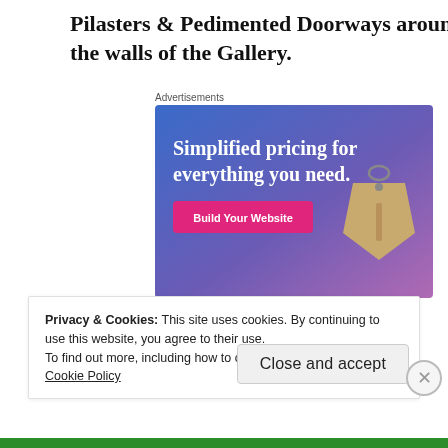Pilasters & Pedimented Doorways around the walls of the Gallery.
Advertisements
[Figure (illustration): Advertisement banner with gradient blue-purple background, text 'Simplified pricing for everything you need.' in white, a pink 'Build Your Website' button, and a tan price tag graphic on the right.]
Privacy & Cookies: This site uses cookies. By continuing to use this website, you agree to their use.
To find out more, including how to control cookies, see here: Cookie Policy
Close and accept